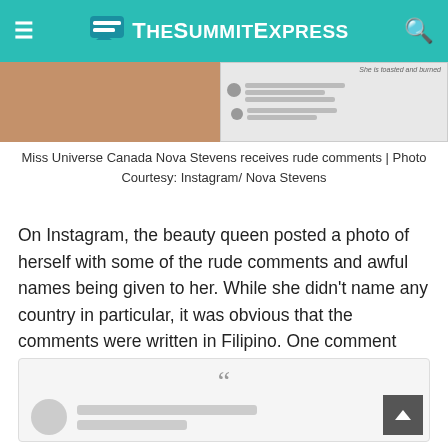TheSummitExpress
[Figure (photo): Composite image: left side shows a close-up of a person's shoulder/skin, right side shows social media comments screenshot with text 'She is toasted and burned' visible]
Miss Universe Canada Nova Stevens receives rude comments | Photo Courtesy: Instagram/ Nova Stevens
On Instagram, the beauty queen posted a photo of herself with some of the rude comments and awful names being given to her. While she didn't name any country in particular, it was obvious that the comments were written in Filipino. One comment stated, "Akala ko engkanto."
[Figure (screenshot): A quoted post box showing a large quotation mark at top and a blurred/placeholder social media post with avatar and text lines below]